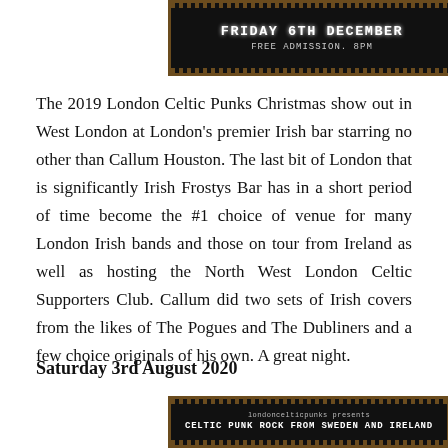[Figure (other): Event poster fragment showing 'FRIDAY 6TH DECEMBER FREE ADMISSION. 8PM' in white text on dark background with ornate Celtic border]
The 2019 London Celtic Punks Christmas show out in West London at London's premier Irish bar starring no other than Callum Houston. The last bit of London that is significantly Irish Frostys Bar has in a short period of time become the #1 choice of venue for many London Irish bands and those on tour from Ireland as well as hosting the North West London Celtic Supporters Club. Callum did two sets of Irish covers from the likes of The Pogues and The Dubliners and a few choice originals of his own. A great night.
Saturday 3rd August 2020
[Figure (other): Event poster fragment showing 'londoncelticpunks presents CELTIC PUNK ROCK FROM SWEDEN AND IRELAND' with decorative Celtic border and band imagery]